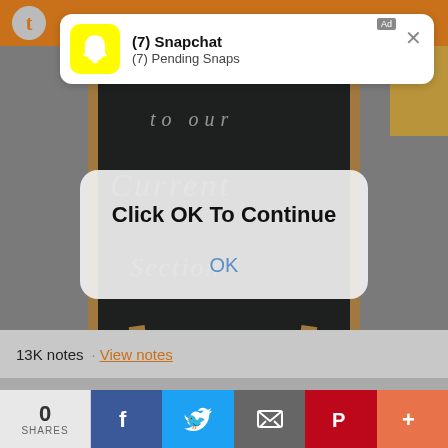[Figure (screenshot): Snapchat push notification ad showing '(7) Snapchat' and '(7) Pending Snaps' with yellow Snapchat logo and X close button, Ad label in top right]
[Figure (photo): Background photo of a chalkboard sign on a sidewalk with text 'to our Current Section' partially visible]
[Figure (screenshot): iOS-style modal dialog with text 'Click OK To Continue' and blue OK button]
13K notes · View notes
0
SHARES
[Figure (infographic): Social share bar with Facebook, Twitter, Email, Pinterest, and More buttons]